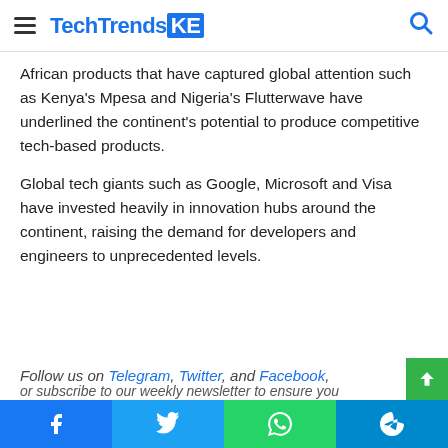TechTrendsKE
African products that have captured global attention such as Kenya’s Mpesa and Nigeria’s Flutterwave have underlined the continent’s potential to produce competitive tech-based products.
Global tech giants such as Google, Microsoft and Visa have invested heavily in innovation hubs around the continent, raising the demand for developers and engineers to unprecedented levels.
Follow us on Telegram, Twitter, and Facebook,
or subscribe to our weekly newsletter to ensure you